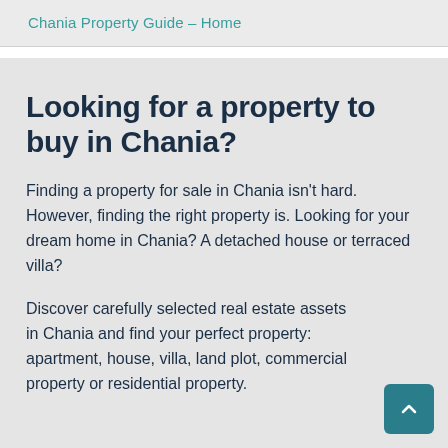Chania Property Guide – Home
Looking for a property to buy in Chania?
Finding a property for sale in Chania isn't hard. However, finding the right property is. Looking for your dream home in Chania? A detached house or terraced villa?
Discover carefully selected real estate assets in Chania and find your perfect property: apartment, house, villa, land plot, commercial property or residential property.